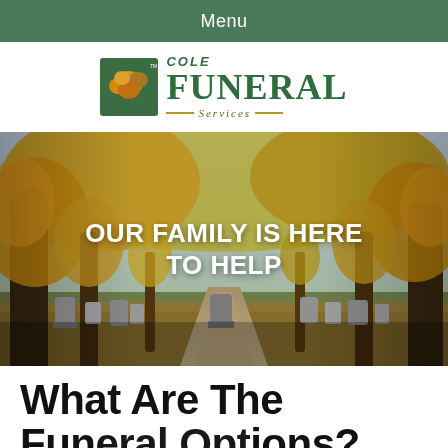Menu
[Figure (logo): Cole Funeral Services logo with green oak leaf icon and text]
[Figure (photo): Autumn cemetery scene with orange and yellow trees lining a dirt path, gravestones visible, with white overlaid text reading OUR FAMILY IS HERE TO HELP]
What Are The Funeral Options?